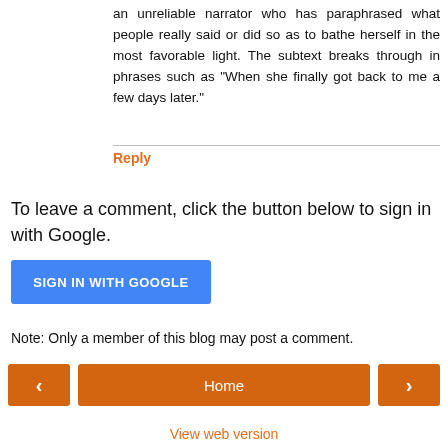an unreliable narrator who has paraphrased what people really said or did so as to bathe herself in the most favorable light. The subtext breaks through in phrases such as "When she finally got back to me a few days later."
Reply
To leave a comment, click the button below to sign in with Google.
[Figure (other): Blue 'SIGN IN WITH GOOGLE' button]
Note: Only a member of this blog may post a comment.
[Figure (other): Navigation bar with left arrow, Home button, right arrow]
View web version